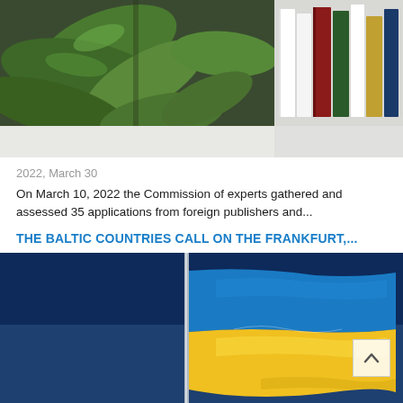[Figure (photo): Photo of a green plant with large leaves next to a bookshelf with colorful books]
2022, March 30
On March 10, 2022 the Commission of experts gathered and assessed 35 applications from foreign publishers and...
THE BALTIC COUNTRIES CALL ON THE FRANKFURT,...
[Figure (photo): Photo of a Ukrainian flag waving on a pole against a blue sky]
2022, February 28